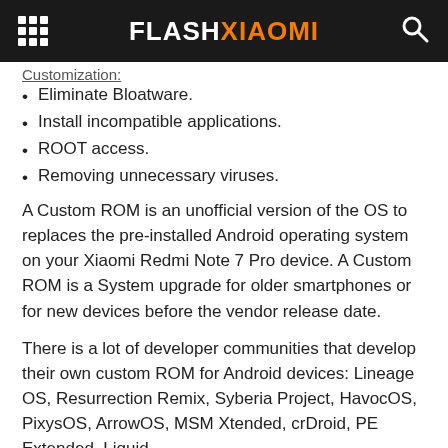FLASHXIAOMI
Customization:
Eliminate Bloatware.
Install incompatible applications.
ROOT access.
Removing unnecessary viruses.
A Custom ROM is an unofficial version of the OS to replaces the pre-installed Android operating system on your Xiaomi Redmi Note 7 Pro device. A Custom ROM is a System upgrade for older smartphones or for new devices before the vendor release date.
There is a lot of developer communities that develop their own custom ROM for Android devices: Lineage OS, Resurrection Remix, Syberia Project, HavocOS, PixysOS, ArrowOS, MSM Xtended, crDroid, PE Extended, Liquid